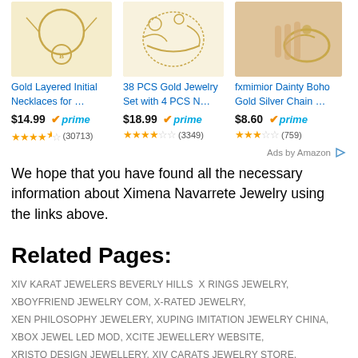[Figure (other): Three Amazon product listings for gold jewelry - necklaces and jewelry sets with prices, prime badges, and star ratings]
Ads by Amazon
We hope that you have found all the necessary information about Ximena Navarrete Jewelry using the links above.
Related Pages:
XIV KARAT JEWELERS BEVERLY HILLS  X RINGS JEWELRY, XBOYFRIEND JEWELRY COM, X-RATED JEWELRY, XEN PHILOSOPHY JEWELERY, XUPING IMITATION JEWELRY CHINA, XBOX JEWEL LED MOD, XCITE JEWELLERY WEBSITE, XRISTO DESIGN JEWELLERY, XIV CARATS JEWELRY STORE, XEN JEWELLERY NOMINATION, XO DESIGNS JEWELRY